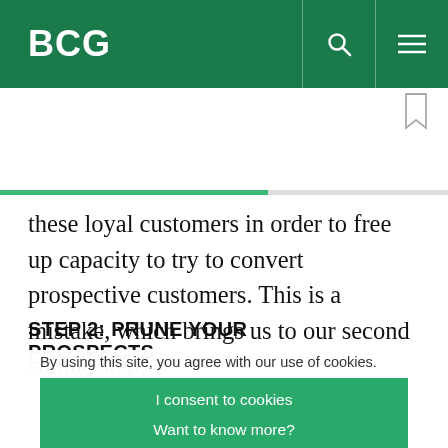BCG
these loyal customers in order to free up capacity to try to convert prospective customers. This is a mistake, which brings us to our second simple step.
STEP 2: PRUNE YOUR PROSPECTS
By using this site, you agree with our use of cookies.
I consent to cookies
Want to know more?
Read our Cookie Policy